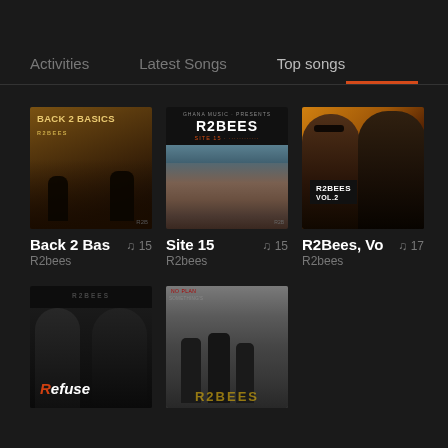Activities    Latest Songs    Top songs
[Figure (photo): Album cover: Back 2 Basics by R2bees]
Back 2 Bas
R2bees
🎵 15
[Figure (photo): Album cover: Site 15 by R2bees]
Site 15
R2bees
🎵 15
[Figure (photo): Album cover: R2Bees Vol.2 by R2bees]
R2Bees, Vo
R2bees
🎵 17
[Figure (photo): Album cover: Refuse by R2bees (partial)]
[Figure (photo): Album cover: Street album by R2bees (partial)]